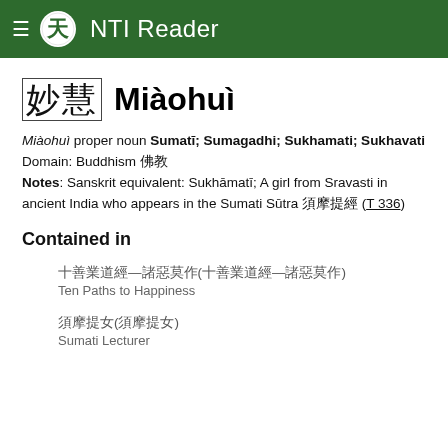NTI Reader
妙慧  Miàohuì
Miàohuì proper noun Sumatī; Sumagadhi; Sukhamati; Sukhavati
Domain: Buddhism 佛教
Notes: Sanskrit equivalent: Sukhāmatī; A girl from Sravasti in ancient India who appears in the Sumati Sūtra 須摩提經 (T 336)
Contained in
十善業道經—諸惡莫作(十善業道經—諸惡莫作)
Ten Paths to Happiness
須摩提女(須摩提女)
Sumati Lecturer